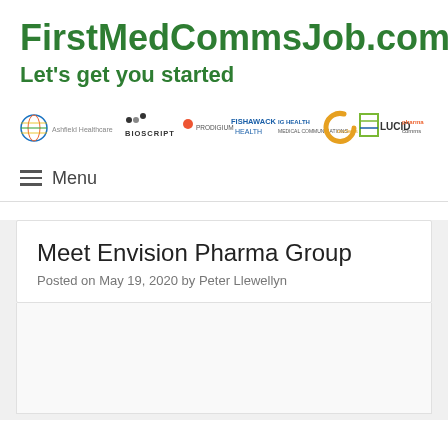FirstMedCommsJob.com
Let's get you started
[Figure (logo): Row of medical communications company logos including BioScript, Fishawack Health, IG Health Medical Communications, Lucid, and others]
≡ Menu
Meet Envision Pharma Group
Posted on May 19, 2020 by Peter Llewellyn